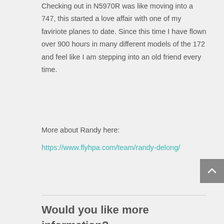Checking out in N5970R was like moving into a 747, this started a love affair with one of my faviriote planes to date. Since this time I have flown over 900 hours in many different models of the 172 and feel like I am stepping into an old friend every time.
More about Randy here:
https://www.flyhpa.com/team/randy-delong/
Would you like more information?